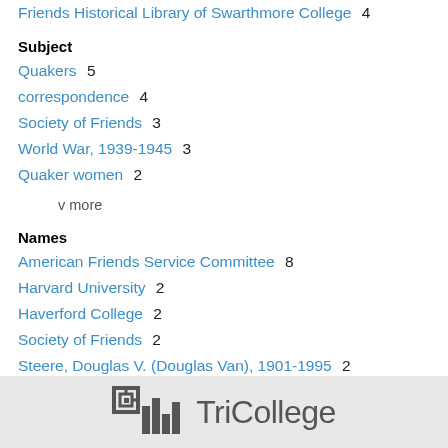Friends Historical Library of Swarthmore College  4
Subject
Quakers  5
correspondence  4
Society of Friends  3
World War, 1939-1945  3
Quaker women  2
v more
Names
American Friends Service Committee  8
Harvard University  2
Haverford College  2
Society of Friends  2
Steere, Douglas V. (Douglas Van), 1901-1995  2
v more
[Figure (logo): TriCollege consortium logo with bar chart icon and text 'TriCollege']